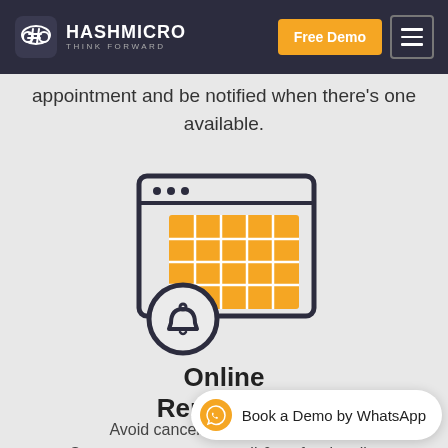[Figure (logo): HashMicro logo with cloud/hashtag icon and tagline THINK FORWARD on dark navy background]
appointment and be notified when there's one available.
[Figure (illustration): Icon of a browser window with an orange calendar grid and a bell notification icon overlapping — representing Online Reminders feature]
Online Reminders
Avoid cancel... Serve your customers well & professionally.
[Figure (other): WhatsApp Book a Demo floating button bar at bottom right]